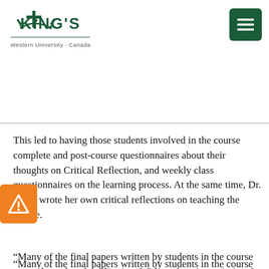[Figure (logo): King's University College at Western University Canada logo — crown and cross emblem with text KING'S and Western University · Canada]
This led to having those students involved in the course complete and post-course questionnaires about their thoughts on Critical Reflection, and weekly class questionnaires on the learning process. At the same time, Dr. Béres wrote her own critical reflections on teaching the course.
“Many of the final papers written by students in the course seemed worthy of publication. With students’ permission, I forwarded some to Jan Fook and we decided we had the basis of a good book,” says Dr. Béres. Other chapters were contributed by experts in the field from Australia and England with experience in learning about Critical Reflection that Dr. Fook knew. Dr. Béres contributed a separate chapter from her experience in teaching Critical Reflection, and Dr. Béres and Dr. Fook co-wrote chapters regarding the theory and